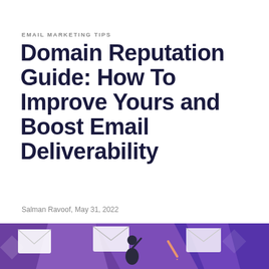EMAIL MARKETING TIPS
Domain Reputation Guide: How To Improve Yours and Boost Email Deliverability
Salman Ravoof, May 31, 2022
[Figure (illustration): Hero illustration showing people interacting with email envelopes against a purple and blue geometric background, with a teal chat bubble icon in the lower right corner.]